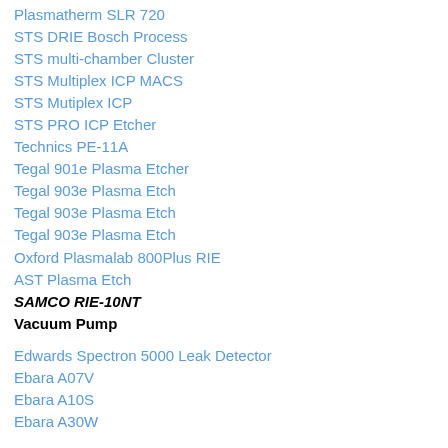Plasmatherm SLR 720
STS DRIE Bosch Process
STS multi-chamber Cluster
STS Multiplex ICP MACS
STS Mutiplex ICP
STS PRO ICP Etcher
Technics PE-11A
Tegal 901e Plasma Etcher
Tegal 903e Plasma Etch
Tegal 903e Plasma Etch
Tegal 903e Plasma Etch
Oxford Plasmalab 800Plus RIE
AST Plasma Etch
SAMCO RIE-10NT
Vacuum Pump
Edwards Spectron 5000 Leak Detector
Ebara A07V
Ebara A10S
Ebara A30W